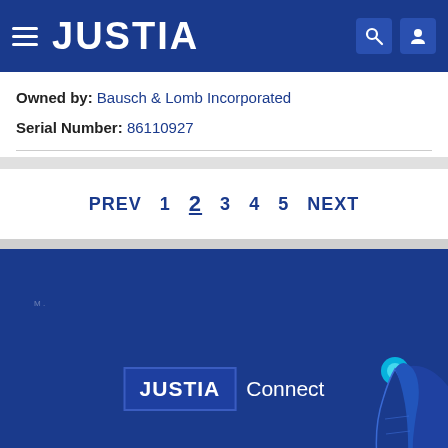JUSTIA
Owned by: Bausch & Lomb Incorporated
Serial Number: 86110927
PREV 1 2 3 4 5 NEXT
[Figure (logo): Justia Connect logo with hand/finger icon on dark blue background footer]
JUSTIA Connect